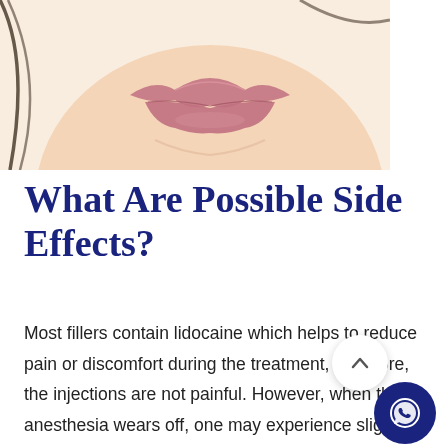[Figure (illustration): Illustration of a woman's face focusing on lips and chin area, drawn in a soft illustrative style with peach/skin tones]
What Are Possible Side Effects?
Most fillers contain lidocaine which helps to reduce pain or discomfort during the treatment, therefore, the injections are not painful. However, when the anesthesia wears off, one may experience slight pain and discomfort. With all injections, there is a small risk of developing bruising, redness, and swelling at the injection site. These minimal side effects subside within a day or two. These side effects are rare but likely to occur if an inexperienced